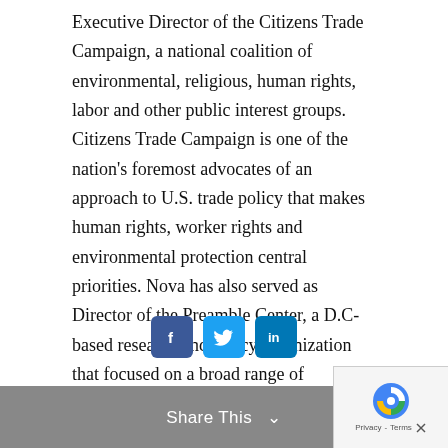Executive Director of the Citizens Trade Campaign, a national coalition of environmental, religious, human rights, labor and other public interest groups. Citizens Trade Campaign is one of the nation's foremost advocates of an approach to U.S. trade policy that makes human rights, worker rights and environmental protection central priorities. Nova has also served as Director of the Preamble Center, a D.C-based research and policy organization that focused on a broad range of economic issues, from Social Security to international commerce.
Nova has written and spoken widely on international labor rights issues, in the United States and abroad. He is a graduate of Dartmouth College.
[Figure (infographic): Three social sharing icons: Facebook (blue square with f), Twitter (blue square with bird), LinkedIn (blue square with in)]
Share This ∨